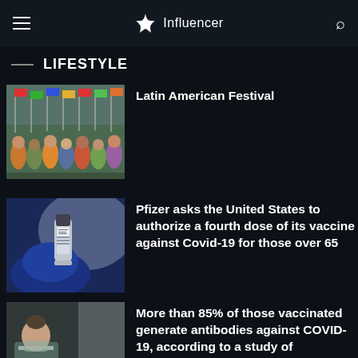Influencer
LIFESTYLE
[Figure (photo): Group of people in colorful traditional costumes at a Latin American Festival]
Latin American Festival
[Figure (photo): Close-up of a vaccine vial being held with blue gloves]
Pfizer asks the United States to authorize a fourth dose of its vaccine against Covid-19 for those over 65
[Figure (photo): Healthcare worker or pharmacist working at a desk]
More than 85% of those vaccinated generate antibodies against COVID-19, according to a study of pharmacists